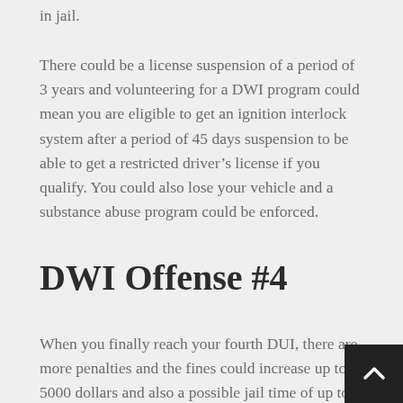in jail.
There could be a license suspension of a period of 3 years and volunteering for a DWI program could mean you are eligible to get an ignition interlock system after a period of 45 days suspension to be able to get a restricted driver’s license if you qualify. You could also lose your vehicle and a substance abuse program could be enforced.
DWI Offense #4
When you finally reach your fourth DUI, there are more penalties and the fines could increase up to 5000 dollars and also a possible jail time of up to 30 years. Not only could you lose your license but you could also lose your car. You must also attend programs like six weeks of